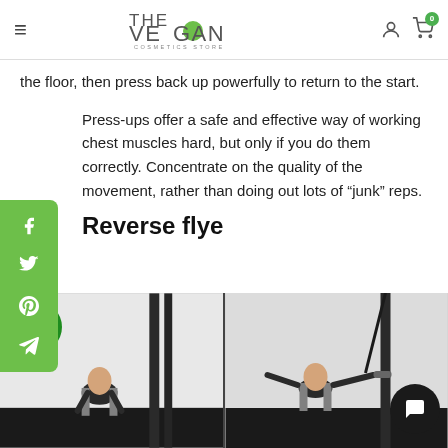THE VEGAN COSMETICS STORE
the floor, then press back up powerfully to return to the start.
Press-ups offer a safe and effective way of working chest muscles hard, but only if you do them correctly. Concentrate on the quality of the movement, rather than doing out lots of "junk" reps.
Reverse flye
[Figure (photo): Two-panel gym photo showing a person performing a reverse flye exercise with dumbbells. Left panel: bent over starting position. Right panel: arms extended outward.]